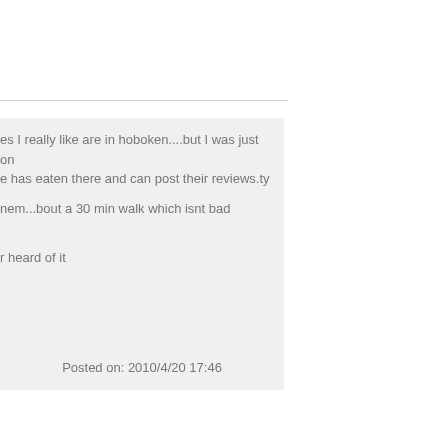#1
es I really like are in hoboken....but I was just on e has eaten there and can post their reviews.ty
nem...bout a 30 min walk which isnt bad
heard of it
Posted on: 2010/4/20 17:46